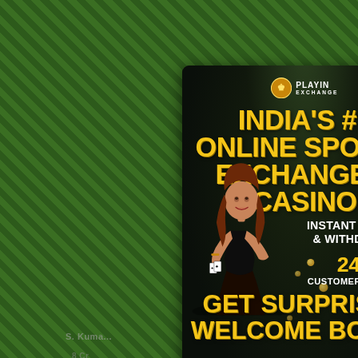[Figure (advertisement): PlayinExchange online sports exchange and casino advertisement popup. Dark stadium background with a woman holding playing cards. Gold text headline: INDIA'S #1 ONLINE SPORTS EXCHANGE & CASINO. Features: INSTANT DEPOSIT & WITHDRAWAL, 24*7 CUSTOMER SUPPORT, GET SURPRISED WELCOME BONUS. Website: www.playinexch.com, WhatsApp: +44 75371 89103. Terms & Conditions Apply.]